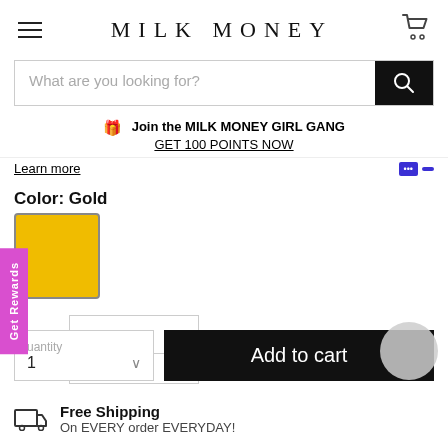MILK MONEY
What are you looking for?
🎁 Join the MILK MONEY GIRL GANG GET 100 POINTS NOW
Learn more
Color: Gold
[Figure (illustration): Gold color swatch square]
Get Rewards
Quantity 1
Add to cart
Free Shipping
On EVERY order EVERYDAY!